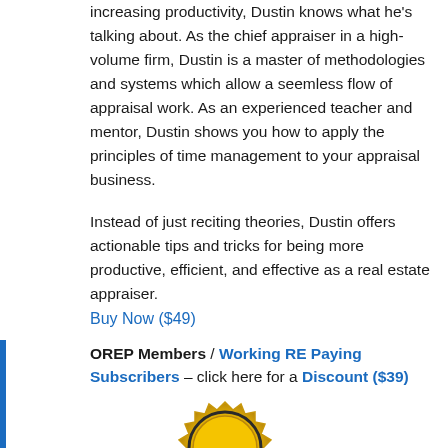increasing productivity, Dustin knows what he's talking about. As the chief appraiser in a high-volume firm, Dustin is a master of methodologies and systems which allow a seemless flow of appraisal work. As an experienced teacher and mentor, Dustin shows you how to apply the principles of time management to your appraisal business.
Instead of just reciting theories, Dustin offers actionable tips and tricks for being more productive, efficient, and effective as a real estate appraiser.
Buy Now ($49)
OREP Members / Working RE Paying Subscribers – click here for a Discount ($39)
[Figure (illustration): Gold badge/seal icon partially visible at the bottom of the page]